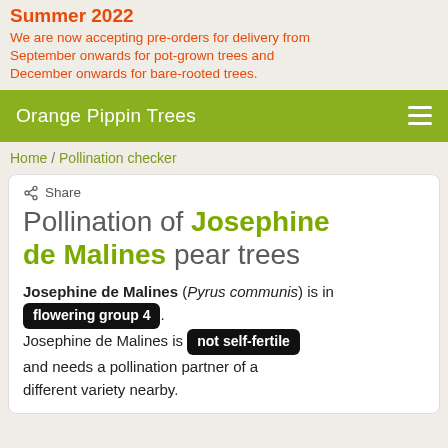Summer 2022
We are now accepting pre-orders for delivery from September onwards for pot-grown trees and December onwards for bare-rooted trees.
Orange Pippin Trees
Home / Pollination checker
Pollination of Josephine de Malines pear trees
Josephine de Malines (Pyrus communis) is in flowering group 4. Josephine de Malines is not self-fertile and needs a pollination partner of a different variety nearby.